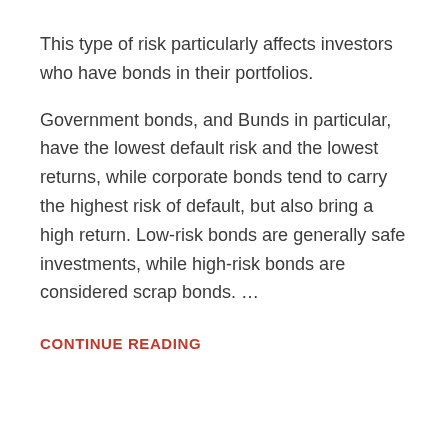This type of risk particularly affects investors who have bonds in their portfolios.
Government bonds, and Bunds in particular, have the lowest default risk and the lowest returns, while corporate bonds tend to carry the highest risk of default, but also bring a high return. Low-risk bonds are generally safe investments, while high-risk bonds are considered scrap bonds. …
CONTINUE READING